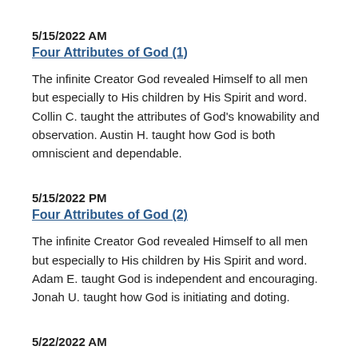5/15/2022 AM
Four Attributes of God (1)
The infinite Creator God revealed Himself to all men but especially to His children by His Spirit and word. Collin C. taught the attributes of God's knowability and observation. Austin H. taught how God is both omniscient and dependable.
5/15/2022 PM
Four Attributes of God (2)
The infinite Creator God revealed Himself to all men but especially to His children by His Spirit and word. Adam E. taught God is independent and encouraging. Jonah U. taught how God is initiating and doting.
5/22/2022 AM